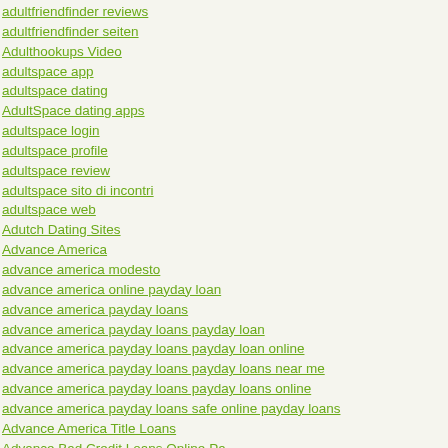adultfriendfinder reviews
adultfriendfinder seiten
Adulthookups Video
adultspace app
adultspace dating
AdultSpace dating apps
adultspace login
adultspace profile
adultspace review
adultspace sito di incontri
adultspace web
Adutch Dating Sites
Advance America
advance america modesto
advance america online payday loan
advance america payday loans
advance america payday loans payday loan
advance america payday loans payday loan online
advance america payday loans payday loans near me
advance america payday loans payday loans online
advance america payday loans safe online payday loans
Advance America Title Loans
Advance Bad Credit Loans Online Pa
Advance Cash
advance cash loan payday
Advance Financial 24/7